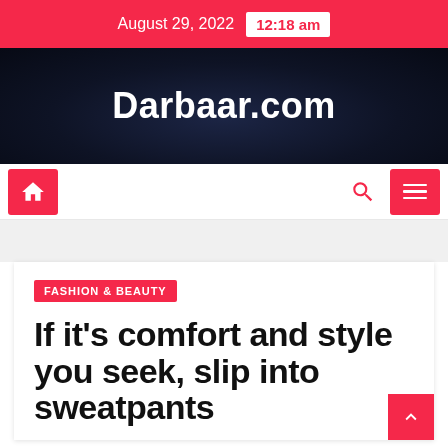August 29, 2022  12:18 am
Darbaar.com
[Figure (logo): Navigation bar with home icon button on left, search icon and hamburger menu button on right]
FASHION & BEAUTY
If it's comfort and style you seek, slip into sweatpants